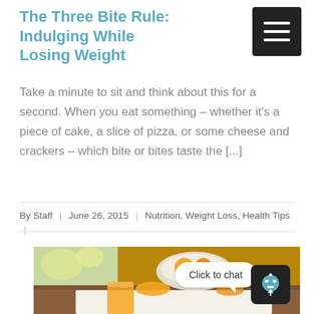The Three Bite Rule: Indulging While Losing Weight
Take a minute to sit and think about this for a second. When you eat something – whether it's a piece of cake, a slice of pizza, or some cheese and crackers – which bite or bites taste the [...]
By Staff | June 26, 2015 | Nutrition, Weight Loss, Health Tips |
[Figure (photo): Photo of orange juice in a glass and a bowl of oranges/fruit on a table outdoors, with a chat widget overlay reading 'Click to chat']